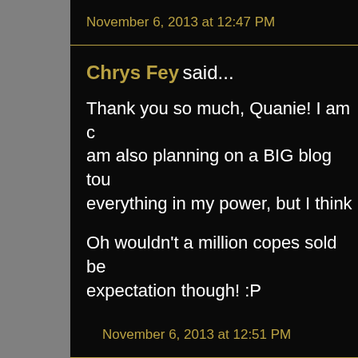November 6, 2013 at 12:47 PM
Chrys Fey said...
Thank you so much, Quanie! I am c am also planning on a BIG blog tou everything in my power, but I think
Oh wouldn't a million copes sold be expectation though! :P
November 6, 2013 at 12:51 PM
Chrys Fey said